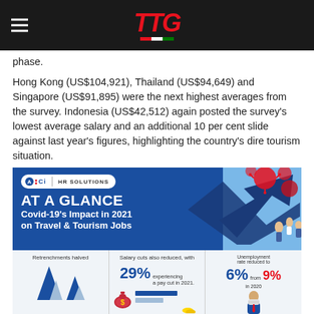TTG
phase.
Hong Kong (US$104,921), Thailand (US$94,649) and Singapore (US$91,895) were the next highest averages from the survey. Indonesia (US$42,512) again posted the survey's lowest average salary and an additional 10 per cent slide against last year's figures, highlighting the country's dire tourism situation.
[Figure (infographic): ACI HR Solutions infographic titled 'AT A GLANCE: Covid-19's Impact in 2021 on Travel & Tourism Jobs'. Shows: Retrenchments halved (bar chart), Salary cuts also reduced with 29% experiencing a pay cut in 2021, Unemployment rate reduced to 6% from 9% in 2020.]